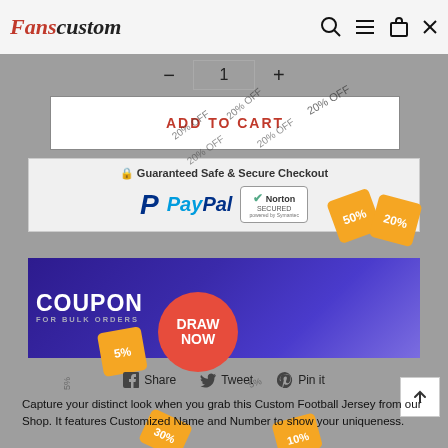Fanscustom
- 1 +
ADD TO CART
[Figure (screenshot): Guaranteed Safe & Secure Checkout banner with PayPal and Norton Secured logos]
[Figure (screenshot): COUPON FOR BULK ORDERS promotional banner with Extra 5%, Extra 10%, Extra 15% off coupons and DRAW NOW button]
Share   Tweet   Pin it
Capture your distinct look when you grab this Custom Football Jersey from our Shop. It features Customized Name and Number to show your uniqueness.